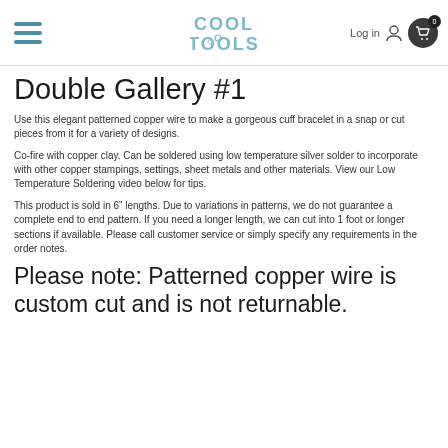Cool Tools — Log in — Cart (0)
Double Gallery #1
Use this elegant patterned copper wire to make a gorgeous cuff bracelet in a snap or cut pieces from it for a variety of designs.
Co-fire with copper clay. Can be soldered using low temperature silver solder to incorporate with other copper stampings, settings, sheet metals and other materials. View our Low Temperature Soldering video below for tips.
This product is sold in 6" lengths. Due to variations in patterns, we do not guarantee a complete end to end pattern. If you need a longer length, we can cut into 1 foot or longer sections if available. Please call customer service or simply specify any requirements in the order notes.
Please note: Patterned copper wire is custom cut and is not returnable.